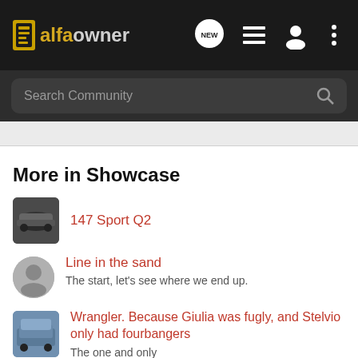alfaowner — navigation header with NEW, list, user, and menu icons
Search Community
More in Showcase
147 Sport Q2
Line in the sand
The start, let's see where we end up.
Wrangler. Because Giulia was fugly, and Stelvio only had fourbangers
The one and only
1977 Alfa Romeo Spider Velose
Stunning example of Alfa Romeo Classic Convertible Sports